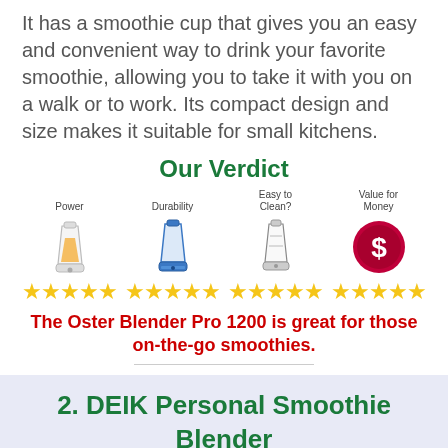It has a smoothie cup that gives you an easy and convenient way to drink your favorite smoothie, allowing you to take it with you on a walk or to work. Its compact design and size makes it suitable for small kitchens.
Our Verdict
[Figure (infographic): Four rating categories (Power, Durability, Easy to Clean?, Value for Money) each with an icon and 5-star rating displayed in yellow stars]
The Oster Blender Pro 1200 is great for those on-the-go smoothies.
2. DEIK Personal Smoothie Blender